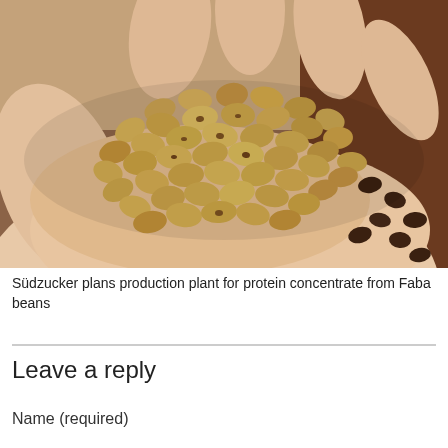[Figure (photo): A hand holding a handful of dry Faba beans (small, oval, brown/tan legume seeds) against a background of a brown paper bag and more beans.]
Südzucker plans production plant for protein concentrate from Faba beans
Leave a reply
Name (required)